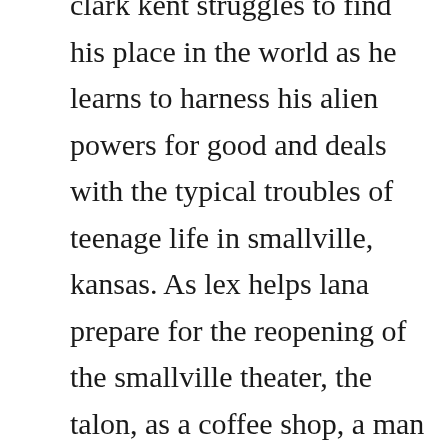clark kent struggles to find his place in the world as he learns to harness his alien powers for good and deals with the typical troubles of teenage life in smallville, kansas. As lex helps lana prepare for the reopening of the smallville theater, the talon, as a coffee shop, a man from lexs past, named jude royce, arrives in town and begins stalking lex wanting to hold him in conjunction with a shooting death at club zero in metropolis three years ago that lex may have been responsible for. Download smallville season 6 subtitle